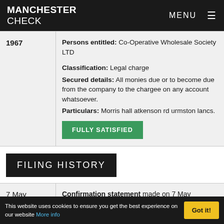MANCHESTER CHECK | MENU
| Year | Details |
| --- | --- |
| 1967 | Persons entitled: Co-Operative Wholesale Society LTD

Classification: Legal charge
Secured details: All monies due or to become due from the company to the chargee on any account whatsoever.
Particulars: Morris hall atkenson rd urmston lancs.

FULLY SATISFIED |
FILING HISTORY
| Date | Details |
| --- | --- |
| 7 May | Confirmation statement made on 7 May |
This website uses cookies to ensure you get the best experience on our website More info